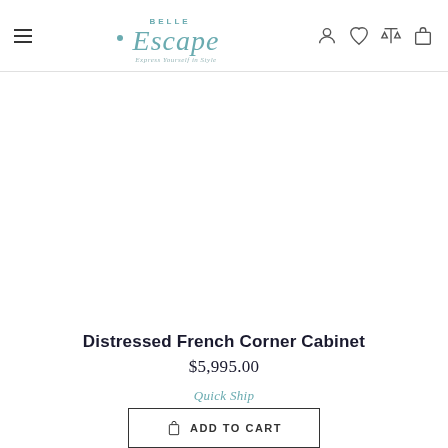Belle Escape — Express Yourself in Style
[Figure (screenshot): Product image area — blank white space for Distressed French Corner Cabinet product photo]
Distressed French Corner Cabinet
$5,995.00
Quick Ship
ADD TO CART